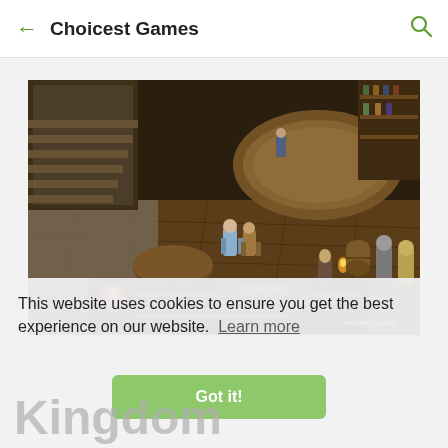← Choicest Games 🔍
[Figure (screenshot): Screenshot of Sword Coast Legends video game showing an isometric tavern interior with RPG characters and a dialogue box overlay]
This website uses cookies to ensure you get the best experience on our website. Learn more
Got it!
Kingdom